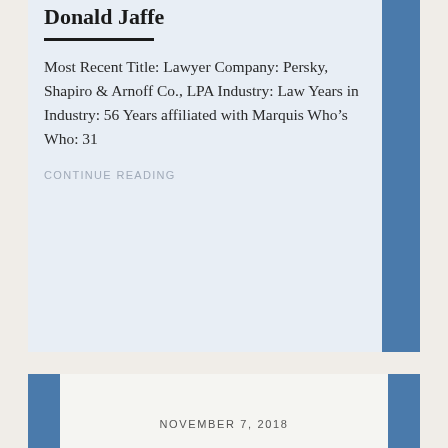Donald Jaffe
Most Recent Title: Lawyer Company: Persky, Shapiro & Arnoff Co., LPA Industry: Law Years in Industry: 56 Years affiliated with Marquis Who's Who: 31
CONTINUE READING
NOVEMBER 7, 2018